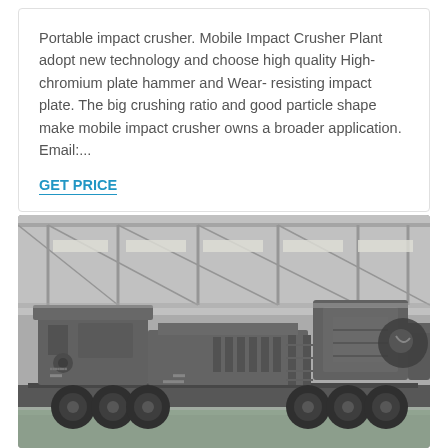Portable impact crusher. Mobile Impact Crusher Plant adopt new technology and choose high quality High-chromium plate hammer and Wear- resisting impact plate. The big crushing ratio and good particle shape make mobile impact crusher owns a broader application. Email:...
GET PRICE
[Figure (photo): A large mobile impact crusher plant on a flatbed trailer, photographed indoors in a factory/warehouse setting with steel roof trusses visible. The machine is grey/dark colored with large wheels and complex mechanical structure.]